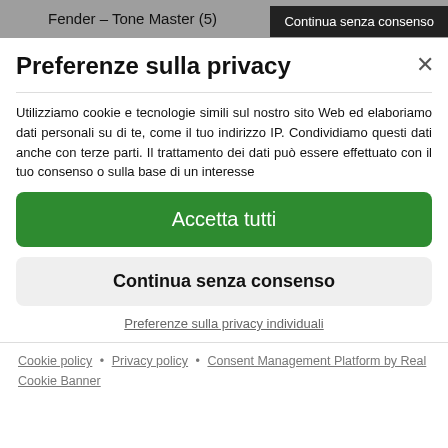Fender – Tone Master (5)
Continua senza consenso
Preferenze sulla privacy
Utilizziamo cookie e tecnologie simili sul nostro sito Web ed elaboriamo dati personali su di te, come il tuo indirizzo IP. Condividiamo questi dati anche con terze parti. Il trattamento dei dati può essere effettuato con il tuo consenso o sulla base di un interesse
Accetta tutti
Continua senza consenso
Preferenze sulla privacy individuali
Cookie policy • Privacy policy • Consent Management Platform by Real Cookie Banner